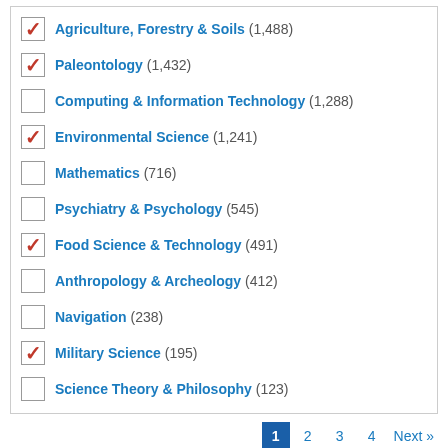Agriculture, Forestry & Soils (1,488) [checked]
Paleontology (1,432) [checked]
Computing & Information Technology (1,288) [unchecked]
Environmental Science (1,241) [checked]
Mathematics (716) [unchecked]
Psychiatry & Psychology (545) [unchecked]
Food Science & Technology (491) [checked]
Anthropology & Archeology (412) [unchecked]
Navigation (238) [unchecked]
Military Science (195) [checked]
Science Theory & Philosophy (123) [unchecked]
375 results
Briefing
Aggressive behavior toward rival group members increases activity in the brain's reward circuit
Published in 2022